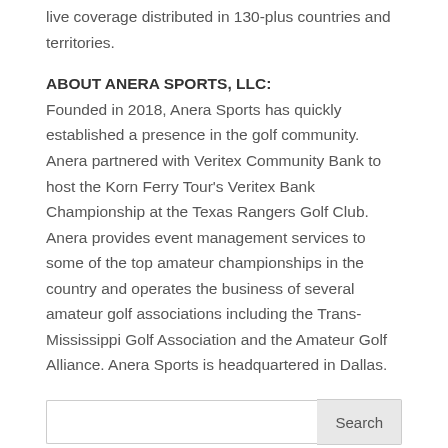live coverage distributed in 130-plus countries and territories.
ABOUT ANERA SPORTS, LLC:
Founded in 2018, Anera Sports has quickly established a presence in the golf community. Anera partnered with Veritex Community Bank to host the Korn Ferry Tour’s Veritex Bank Championship at the Texas Rangers Golf Club. Anera provides event management services to some of the top amateur championships in the country and operates the business of several amateur golf associations including the Trans-Mississippi Golf Association and the Amateur Golf Alliance. Anera Sports is headquartered in Dallas.